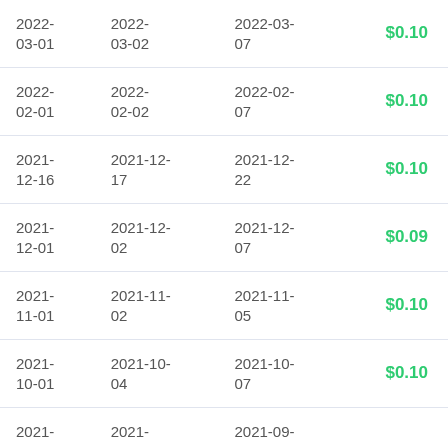| 2022-03-01 | 2022-03-02 | 2022-03-07 | $0.10 |
| 2022-02-01 | 2022-02-02 | 2022-02-07 | $0.10 |
| 2021-12-16 | 2021-12-17 | 2021-12-22 | $0.10 |
| 2021-12-01 | 2021-12-02 | 2021-12-07 | $0.09 |
| 2021-11-01 | 2021-11-02 | 2021-11-05 | $0.10 |
| 2021-10-01 | 2021-10-04 | 2021-10-07 | $0.10 |
| 2021- | 2021- | 2021-09- |  |